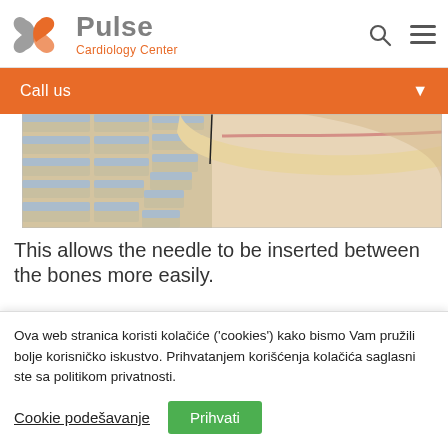[Figure (logo): Pulse Cardiology Center logo with interlocking hearts icon in orange and grey, with text 'Pulse' in grey and 'Cardiology Center' in orange]
[Figure (illustration): Medical illustration showing a cross-section of the spine with a needle being inserted between vertebrae for a spinal procedure, showing bone structures, soft tissue, and spinal cord layers]
This allows the needle to be inserted between the bones more easily.
Ova web stranica koristi kolačiće ('cookies') kako bismo Vam pružili bolje korisničko iskustvo. Prihvatanjem korišćenja kolačića saglasni ste sa politikom privatnosti.